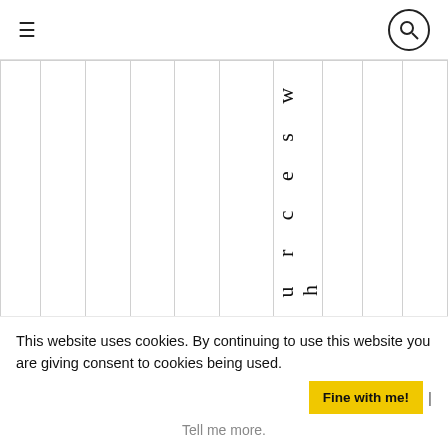≡  [search icon]
|  |  |  |  |  |  | r b y s o u r c e s w h |  |  |  |
This website uses cookies. By continuing to use this website you are giving consent to cookies being used.
Fine with me! |
Tell me more.